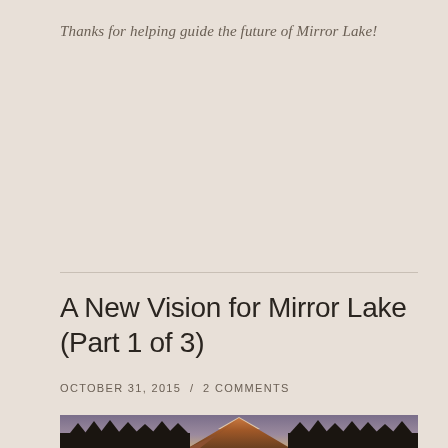Thanks for helping guide the future of Mirror Lake!
A New Vision for Mirror Lake (Part 1 of 3)
OCTOBER 31, 2015  /  2 COMMENTS
[Figure (photo): Mountain landscape with snow-capped peak illuminated by warm sunset light, dark evergreen trees silhouetted in the foreground against a purple-grey sky]